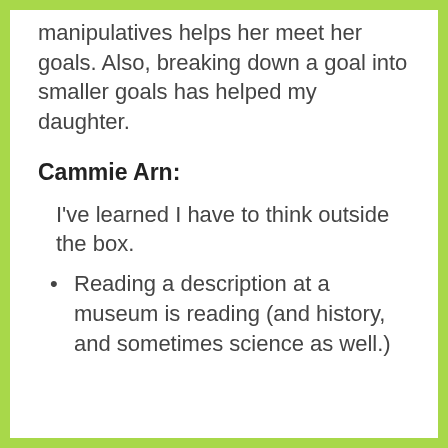manipulatives helps her meet her goals. Also, breaking down a goal into smaller goals has helped my daughter.
Cammie Arn:
I've learned I have to think outside the box.
Reading a description at a museum is reading (and history, and sometimes science as well.)